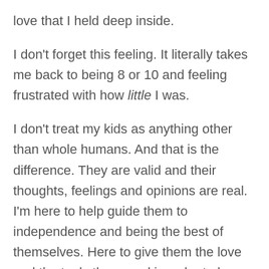love that I held deep inside.
I don't forget this feeling. It literally takes me back to being 8 or 10 and feeling frustrated with how little I was.
I don't treat my kids as anything other than whole humans. And that is the difference. They are valid and their thoughts, feelings and opinions are real. I'm here to help guide them to independence and being the best of themselves. Here to give them the love and the tools they need in order to be their whole beautiful selves.